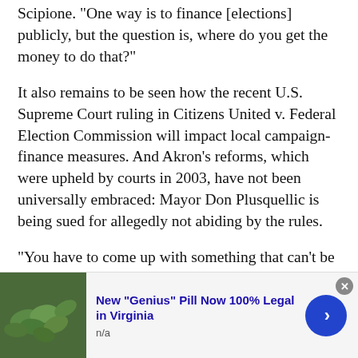Scipione. "One way is to finance [elections] publicly, but the question is, where do you get the money to do that?"
It also remains to be seen how the recent U.S. Supreme Court ruling in Citizens United v. Federal Election Commission will impact local campaign-finance measures. And Akron's reforms, which were upheld by courts in 2003, have not been universally embraced: Mayor Don Plusquellic is being sued for allegedly not abiding by the rules.
"You have to come up with something that can't be squirmed around," says Scipione. "As soon as you try to do something, ingenuity finds a way around it. I don't mind shooting high, but there's no use wasting your time. You've got to be practical, but that doesn't mean you can't be
[Figure (screenshot): Advertisement banner at bottom of page showing green pills/supplements image on left, blue bold headline 'New "Genius" Pill Now 100% Legal in Virginia', subtitle 'n/a', close button (x) in top right, and blue circular arrow button on right.]